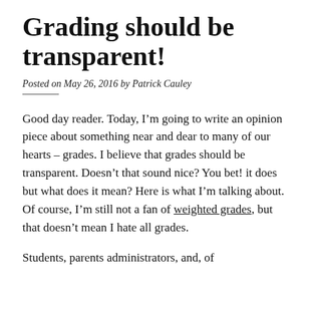Grading should be transparent!
Posted on May 26, 2016 by Patrick Cauley
Good day reader. Today, I’m going to write an opinion piece about something near and dear to many of our hearts – grades. I believe that grades should be transparent. Doesn’t that sound nice? You bet! it does but what does it mean? Here is what I’m talking about. Of course, I’m still not a fan of weighted grades, but that doesn’t mean I hate all grades.
Students, parents administrators, and, of